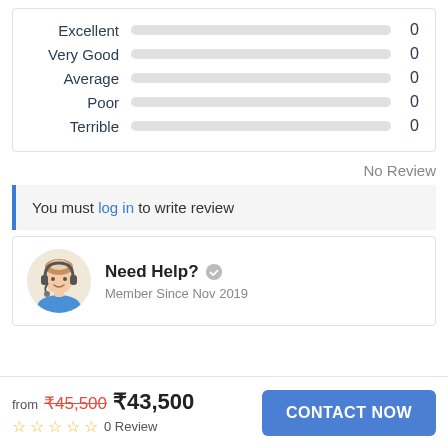[Figure (other): Rating breakdown bars: Excellent 0, Very Good 0, Average 0, Poor 0, Terrible 0]
No Review
You must log in to write review
[Figure (illustration): Customer support avatar with headset]
Need Help?
Member Since Nov 2019
from ₹45,500 ₹43,500 0 Review CONTACT NOW